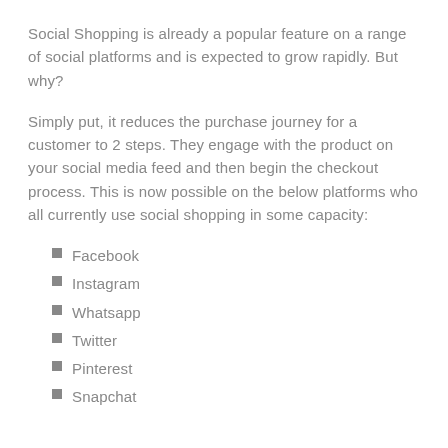Social Shopping is already a popular feature on a range of social platforms and is expected to grow rapidly. But why?
Simply put, it reduces the purchase journey for a customer to 2 steps. They engage with the product on your social media feed and then begin the checkout process. This is now possible on the below platforms who all currently use social shopping in some capacity:
Facebook
Instagram
Whatsapp
Twitter
Pinterest
Snapchat